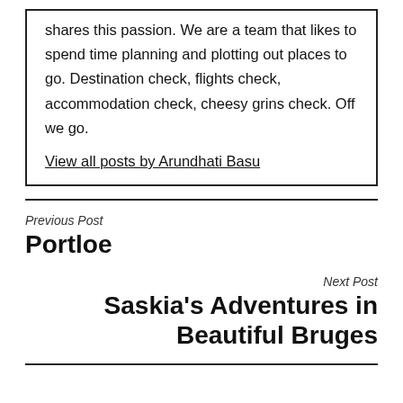shares this passion. We are a team that likes to spend time planning and plotting out places to go. Destination check, flights check, accommodation check, cheesy grins check. Off we go.
View all posts by Arundhati Basu
Previous Post
Portloe
Next Post
Saskia's Adventures in Beautiful Bruges